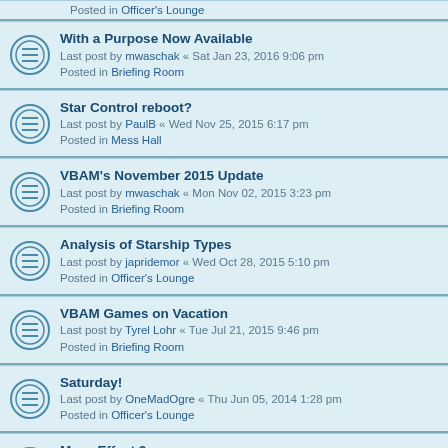Posted in Officer's Lounge
With a Purpose Now Available
Last post by mwaschak « Sat Jan 23, 2016 9:06 pm
Posted in Briefing Room
Star Control reboot?
Last post by PaulB « Wed Nov 25, 2015 6:17 pm
Posted in Mess Hall
VBAM's November 2015 Update
Last post by mwaschak « Mon Nov 02, 2015 3:23 pm
Posted in Briefing Room
Analysis of Starship Types
Last post by japridemor « Wed Oct 28, 2015 5:10 pm
Posted in Officer's Lounge
VBAM Games on Vacation
Last post by Tyrel Lohr « Tue Jul 21, 2015 9:46 pm
Posted in Briefing Room
Saturday!
Last post by OneMadOgre « Thu Jun 05, 2014 1:28 pm
Posted in Officer's Lounge
Mass Effect 3
Last post by Tyrel Lohr « Mon Mar 12, 2012 10:51 pm
Posted in Mess Hall
DVG Israeli Air Force Leader Solitiare Board Game
Last post by pouncer « Tue Mar 06, 2012 11:26 am
Posted in Mercenary Air Squadron